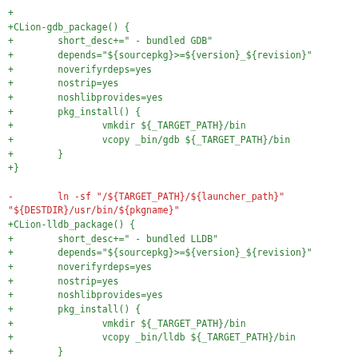Code diff showing CLion-gdb_package and CLion-lldb_package additions, and a modification to a ln -sf command, followed by a git commit header.